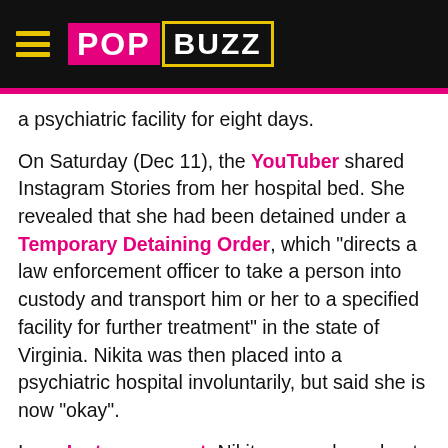PopBuzz
a psychiatric facility for eight days.
On Saturday (Dec 11), the YouTuber shared Instagram Stories from her hospital bed. She revealed that she had been detained under a Temporary Detaining Order, which "directs a law enforcement officer to take a person into custody and transport him or her to a specified facility for further treatment" in the state of Virginia. Nikita was then placed into a psychiatric hospital involuntarily, but said she is now "okay".
In an Instagram post, Nikita opened up about the experience. She wrote: "God, i may never understand why. but i believe. in MYSELF and YOU. i surrender. i have never prayed for myself but here it goes... i want to be